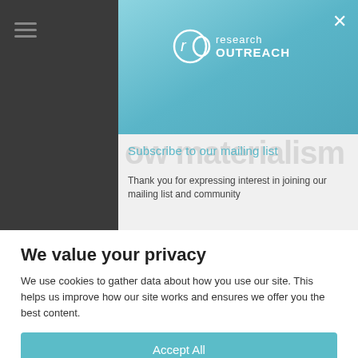[Figure (screenshot): Research Outreach website screenshot with modal dialogs. Top portion shows a dark background with a teal/blue modal containing the Research Outreach logo. Below is a light gray subscribe to mailing list modal. Bottom portion shows a white cookie consent banner.]
Subscribe to our mailing list
Thank you for expressing interest in joining our mailing list and community
We value your privacy
We use cookies to gather data about how you use our site. This helps us improve how our site works and ensures we offer you the best content.
Accept All
Customize
Reject All